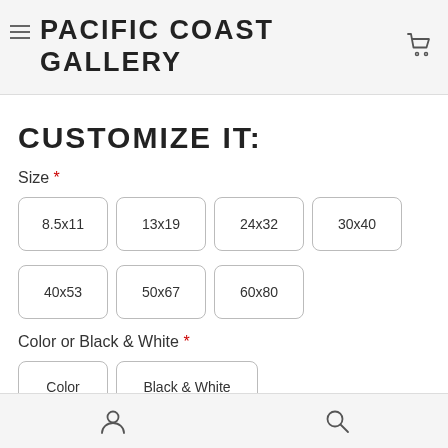PACIFIC COAST GALLERY
CUSTOMIZE IT:
Size *
8.5x11
13x19
24x32
30x40
40x53
50x67
60x80
Color or Black & White *
Color
Black & White
Photo Style *
Photographic print
User icon | Search icon